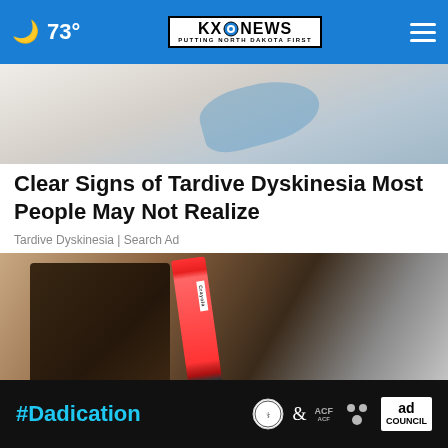🌙 73° | KXNEWS PUTTING NORTH DAKOTA FIRST | ☰
[Figure (photo): Partial view of an abstract or artistic image at top of page]
Clear Signs of Tardive Dyskinesia Most People May Not Realize
Tardive Dyskinesia | Search Ad
[Figure (photo): Hands holding an open wallet with a Crayola crayon inside among bills]
[Figure (advertisement): #Dadication ad banner with HHS, ACF, National Responsible Fatherhood Clearinghouse logos and Ad Council logo]